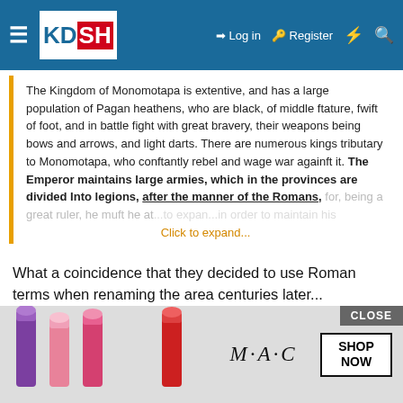KDSH | Log in | Register
The Kingdom of Monomotapa is extentive, and has a large population of Pagan heathens, who are black, of middle ftature, fwift of foot, and in battle fight with great bravery, their weapons being bows and arrows, and light darts. There are numerous kings tributary to Monomotapa, who conftantly rebel and wage war againft it. The Emperor maintains large armies, which in the provinces are divided Into legions, after the manner of the Romans, for, being a great ruler, he muft be at... [Click to expand...]
What a coincidence that they decided to use Roman terms when renaming the area centuries later...
Edit: There is a lot to this. Adding on:
KorbenDallas said: ↑ The events following on the murder of the Jesuit father Dom Gongalo da Silveira
This see...ur standard...etween those tw...
[Figure (advertisement): MAC cosmetics advertisement with lipsticks and SHOP NOW button, with a CLOSE button overlay]